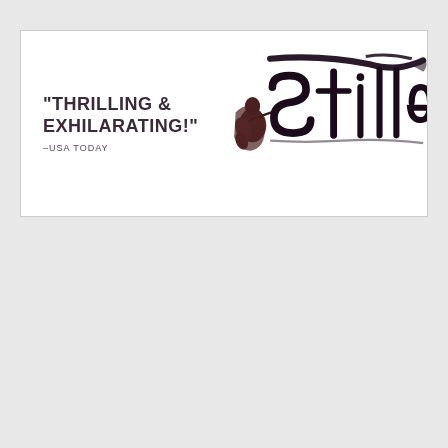[Figure (illustration): Book cover banner advertisement showing the text 'THRILLING & EXHILARATING!' attributed to USA TODAY on the left, with a partial book cover illustration on the right featuring dark calligraphic/handwritten title text and a figure holding a musical instrument against a white background.]